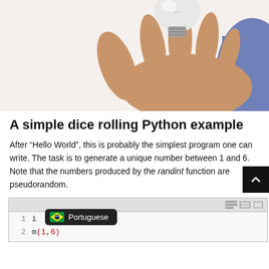[Figure (photo): A hand holding a light bulb (partially cropped at top of page)]
A simple dice rolling Python example
After “Hello World”, this is probably the simplest program one can write. The task is to generate a unique number between 1 and 6. Note that the numbers produced by the randint function are pseudorandom.
[Figure (screenshot): Code editor screenshot showing Python code with line numbers 1, 2, 3 partially visible. A Portuguese language badge overlay is shown. Line 2 shows randint(1,6) in red.]